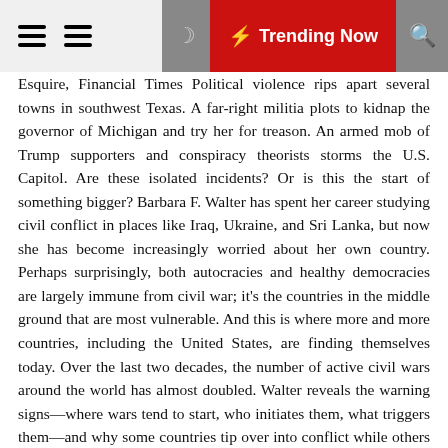≡ ≡  🌙  ⚡ Trending Now  🔍
Esquire, Financial Times Political violence rips apart several towns in southwest Texas. A far-right militia plots to kidnap the governor of Michigan and try her for treason. An armed mob of Trump supporters and conspiracy theorists storms the U.S. Capitol. Are these isolated incidents? Or is this the start of something bigger? Barbara F. Walter has spent her career studying civil conflict in places like Iraq, Ukraine, and Sri Lanka, but now she has become increasingly worried about her own country. Perhaps surprisingly, both autocracies and healthy democracies are largely immune from civil war; it's the countries in the middle ground that are most vulnerable. And this is where more and more countries, including the United States, are finding themselves today. Over the last two decades, the number of active civil wars around the world has almost doubled. Walter reveals the warning signs—where wars tend to start, who initiates them, what triggers them—and why some countries tip over into conflict while others remain stable. Drawing on the latest international research and lessons from over twenty countries, Walter identifies the crucial risk factors, from democratic backsliding to factionalization and the politics of resentment. A civil war today won't look like America in the 1860s.